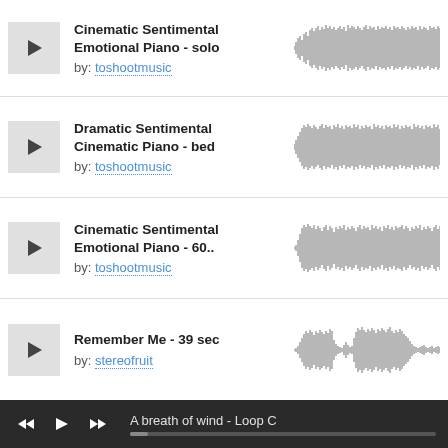Cinematic Sentimental Emotional Piano - solo by: toshootmusic
Dramatic Sentimental Cinematic Piano - bed by: toshootmusic
Cinematic Sentimental Emotional Piano - 60.. by: toshootmusic
Remember Me - 39 sec by: stereofruit
[Figure (other): Audio waveform visualization for Cinematic Sentimental Emotional Piano - solo]
[Figure (other): Audio waveform visualization for Dramatic Sentimental Cinematic Piano - bed]
[Figure (other): Audio waveform visualization for Cinematic Sentimental Emotional Piano - 60..]
[Figure (other): Audio waveform visualization for Remember Me - 39 sec]
A breath of wind - Loop C